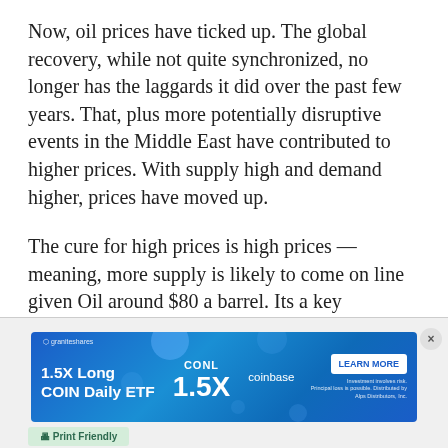Now, oil prices have ticked up. The global recovery, while not quite synchronized, no longer has the laggards it did over the past few years. That, plus more potentially disruptive events in the Middle East have contributed to higher prices. With supply high and demand higher, prices have moved up.
The cure for high prices is high prices — meaning, more supply is likely to come on line given Oil around $80 a barrel. Its a key economic commodity, and indicator of demand, and as such is worth watching.
[Figure (other): Advertisement banner for GraniteShares 1.5X Long COIN Daily ETF (CONL) with Coinbase logo and Learn More button, displayed on a blue gradient background.]